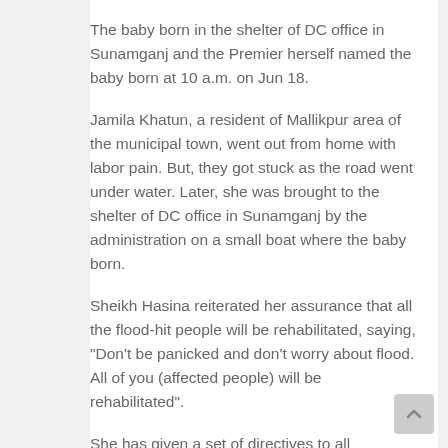The baby born in the shelter of DC office in Sunamganj and the Premier herself named the baby born at 10 a.m. on Jun 18.
Jamila Khatun, a resident of Mallikpur area of the municipal town, went out from home with labor pain. But, they got stuck as the road went under water. Later, she was brought to the shelter of DC office in Sunamganj by the administration on a small boat where the baby born.
Sheikh Hasina reiterated her assurance that all the flood-hit people will be rehabilitated, saying, "Don't be panicked and don't worry about flood. All of you (affected people) will be rehabilitated".
She has given a set of directives to all concerned particularly the field level administration to take prompt measures to ease sufferings of the flood affected people.